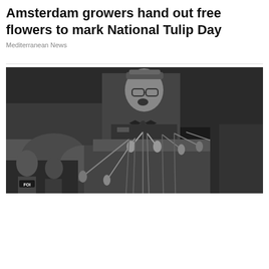Amsterdam growers hand out free flowers to mark National Tulip Day
Mediterranean News
[Figure (photo): Black and white photograph of a man in military-style uniform with bow tie speaking at a podium surrounded by multiple microphones. Crowd visible in background. FOI text visible on badge in lower left.]
15 Things To Know About Elijah Muhammad And The Nation's Success In Fish Imports And...
Moguldom Nation | Sponsored